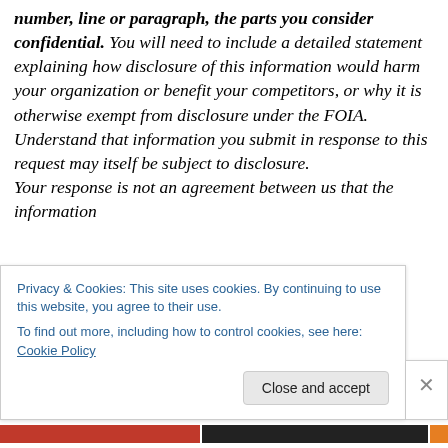number, line or paragraph, the parts you consider confidential. You will need to include a detailed statement explaining how disclosure of this information would harm your organization or benefit your competitors, or why it is otherwise exempt from disclosure under the FOIA. Understand that information you submit in response to this request may itself be subject to disclosure. Your response is not an agreement between us that the information
Privacy & Cookies: This site uses cookies. By continuing to use this website, you agree to their use.
To find out more, including how to control cookies, see here: Cookie Policy